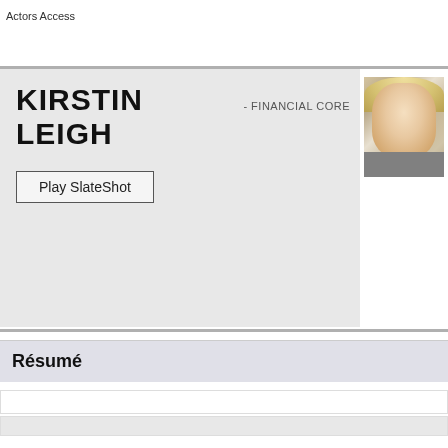Actors Access
KIRSTIN LEIGH - FINANCIAL CORE
Play SlateShot
[Figure (photo): Headshot photo of Kirstin Leigh, a blonde woman with light makeup, against a neutral background]
Résumé